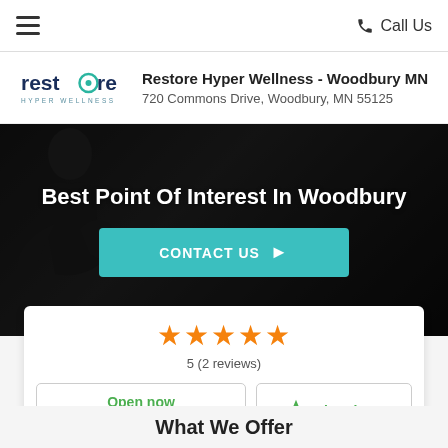≡   Call Us
Restore Hyper Wellness - Woodbury MN
720 Commons Drive, Woodbury, MN 55125
[Figure (photo): Dark background hero image with person in meditation pose, overlay text and contact button]
Best Point Of Interest In Woodbury
CONTACT US ➤
★★★★★
5 (2 reviews)
Open now
Today: 10:00 AM - 07:00 PM
Directions
What We Offer